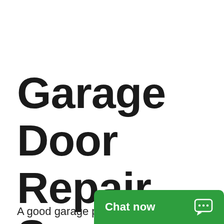Garage Door Repair Services in Irvine
A good garage pro…
[Figure (other): Green chat now button with speech bubble icon in bottom right corner]